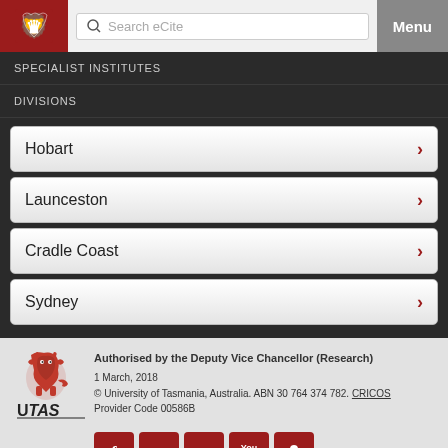Search eCite | Menu
SPECIALIST INSTITUTES
DIVISIONS
Hobart
Launceston
Cradle Coast
Sydney
Authorised by the Deputy Vice Chancellor (Research)
1 March, 2018
© University of Tasmania, Australia. ABN 30 764 374 782. CRICOS Provider Code 00586B
[Figure (logo): University of Tasmania UTAS logo with red lion crest]
[Figure (infographic): Social media icons: Facebook, LinkedIn, Twitter, YouTube, People]